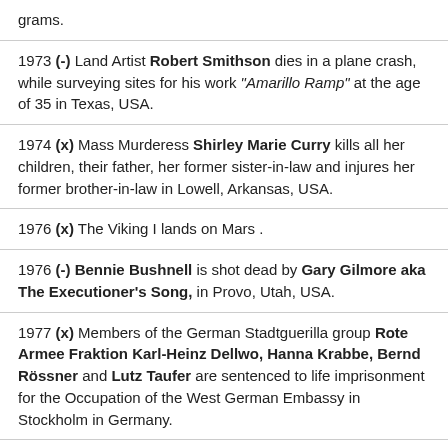grams.
1973 (-) Land Artist Robert Smithson dies in a plane crash, while surveying sites for his work "Amarillo Ramp" at the age of 35 in Texas, USA.
1974 (x) Mass Murderess Shirley Marie Curry kills all her children, their father, her former sister-in-law and injures her former brother-in-law in Lowell, Arkansas, USA.
1976 (x) The Viking I lands on Mars .
1976 (-) Bennie Bushnell is shot dead by Gary Gilmore aka The Executioner's Song, in Provo, Utah, USA.
1977 (x) Members of the German Stadtguerilla group Rote Armee Fraktion Karl-Heinz Dellwo, Hanna Krabbe, Bernd Rössner and Lutz Taufer are sentenced to life imprisonment for the Occupation of the West German Embassy in Stockholm in Germany.
1982 (x) 11 Soldiers die in two bomb attacks by the Terrorist Movement Provisional Irish Republican Army in London.